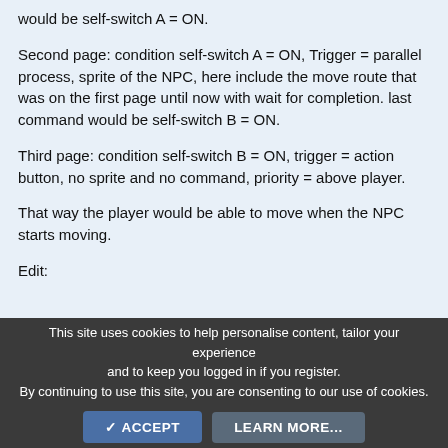would be self-switch A = ON.
Second page: condition self-switch A = ON, Trigger = parallel process, sprite of the NPC, here include the move route that was on the first page until now with wait for completion. last command would be self-switch B = ON.
Third page: condition self-switch B = ON, trigger = action button, no sprite and no command, priority = above player.
That way the player would be able to move when the NPC starts moving.
Edit:
This site uses cookies to help personalise content, tailor your experience and to keep you logged in if you register.
By continuing to use this site, you are consenting to our use of cookies.